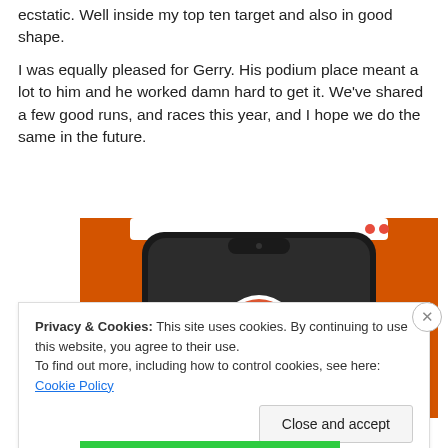ecstatic. Well inside my top ten target and also in good shape.
I was equally pleased for Gerry. His podium place meant a lot to him and he worked damn hard to get it. We've shared a few good runs, and races this year, and I hope we do the same in the future.
[Figure (screenshot): Screenshot of a mobile phone with DuckDuckGo app on an orange background. The phone shows the DuckDuckGo duck logo on screen.]
Privacy & Cookies: This site uses cookies. By continuing to use this website, you agree to their use.
To find out more, including how to control cookies, see here: Cookie Policy